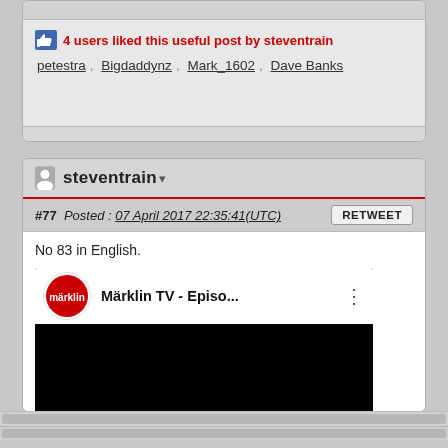4 users liked this useful post by steventrain
petestra , Bigdaddynz , Mark_1602 , Dave Banks
steventrain
#77  Posted : 07 April 2017 22:35:41(UTC)
No 83 in English.
[Figure (screenshot): Embedded YouTube video showing Märklin TV - Episo... thumbnail with black video area and Märklin logo circle]